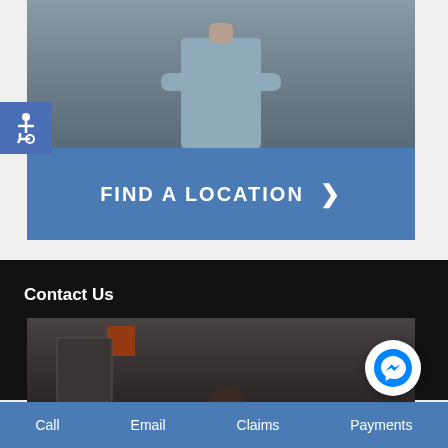[Figure (photo): Partial photo of a person in a grey shirt, upper body visible against a blurred indoor background]
[Figure (logo): Blue square with white wheelchair accessibility icon]
FIND A LOCATION >
Contact Us
[Figure (photo): Interior office/lobby photo, dark toned, with orange sign on wall and person visible at bottom]
[Figure (logo): Facebook Messenger circular icon button]
Call   Email   Claims   Payments